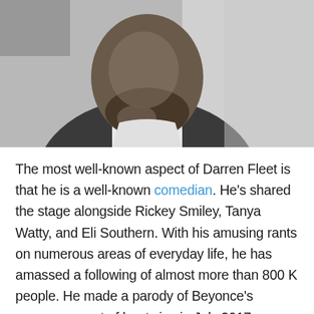[Figure (photo): Black and white photograph of Darren Fleet, a man with a beard wearing a white t-shirt, touching his chin/neck area with his hand, looking at the camera]
The most well-known aspect of Darren Fleet is that he is a well-known comedian. He's shared the stage alongside Rickey Smiley, Tanya Watty, and Eli Southern. With his amusing rants on numerous areas of everyday life, he has amassed a following of almost more than 800 K people. He made a parody of Beyonce's announcement of her twins in July 2017.
[Figure (screenshot): Bottom of a social media card with a circular avatar and a blue button on the right, partially visible]